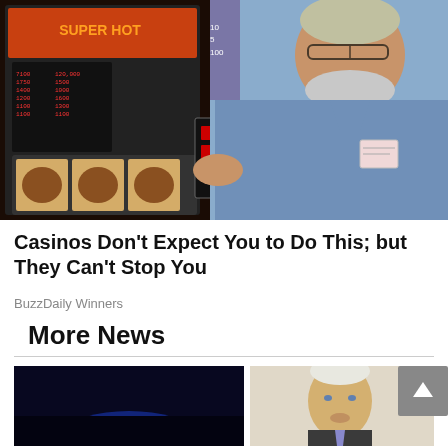[Figure (photo): Older man in a light blue shirt standing next to a slot machine in a casino, touching the machine with one hand. Slot machine displays numbers and reels are visible.]
Casinos Don't Expect You to Do This; but They Can't Stop You
BuzzDaily Winners
More News
[Figure (photo): Dark nighttime photo with a blue glowing light, possibly police lights or stage lights.]
[Figure (photo): Photo of an older man in a suit, likely a politician, speaking at an event.]